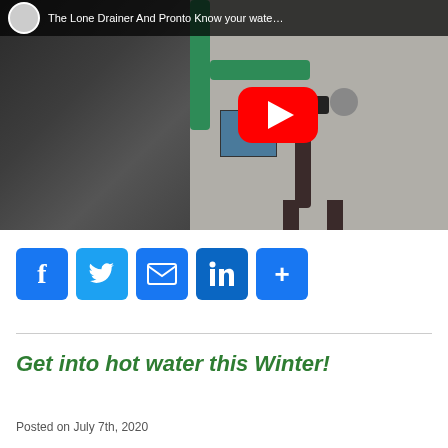[Figure (screenshot): YouTube video thumbnail showing 'The Lone Drainer And Pronto Know your wate...' with a plumbing/pipe image and red YouTube play button]
[Figure (other): Social share buttons: Facebook, Twitter, Email, LinkedIn, More (+)]
Get into hot water this Winter!
Posted on July 7th, 2020